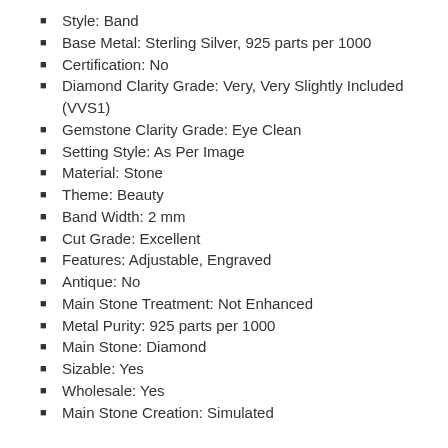Style: Band
Base Metal: Sterling Silver, 925 parts per 1000
Certification: No
Diamond Clarity Grade: Very, Very Slightly Included (VVS1)
Gemstone Clarity Grade: Eye Clean
Setting Style: As Per Image
Material: Stone
Theme: Beauty
Band Width: 2 mm
Cut Grade: Excellent
Features: Adjustable, Engraved
Antique: No
Main Stone Treatment: Not Enhanced
Metal Purity: 925 parts per 1000
Main Stone: Diamond
Sizable: Yes
Wholesale: Yes
Main Stone Creation: Simulated